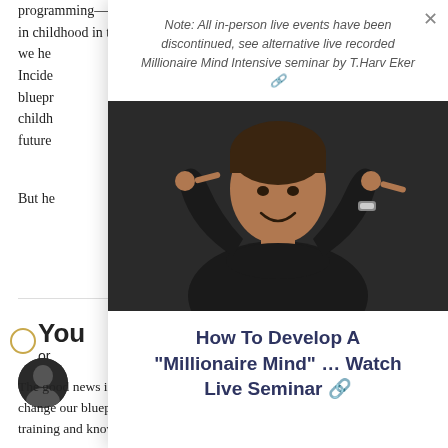programming—things we learned in childhood in three [ways/steps]. we he[ard]... Incide[ntally]... bluepr[int]... childh[ood]... future[...]
Note: All in-person live events have been discontinued, see alternative live recorded Millionaire Mind Intensive seminar by T.Harv Eker 🔗
[Figure (photo): Man in black long-sleeve shirt smiling, hands raised with index fingers pointing to his temples]
How To Develop A "Millionaire Mind" … Watch Live Seminar 🔗
But he[...]
You
or[...]
The good news is that we can change our blueprint with the right training and know-how